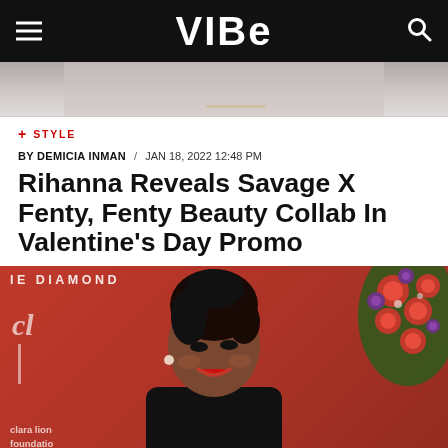VIBE
[Figure (photo): Partial photo of a person at top of page, cropped]
+ STYLE
BY DEMICIA INMAN / JAN 18, 2022 12:48 PM
Rihanna Reveals Savage X Fenty, Fenty Beauty Collab In Valentine's Day Promo
[Figure (photo): Photo of Rihanna smiling at Clara Lionel Foundation event, red background with floral arrangement on right]